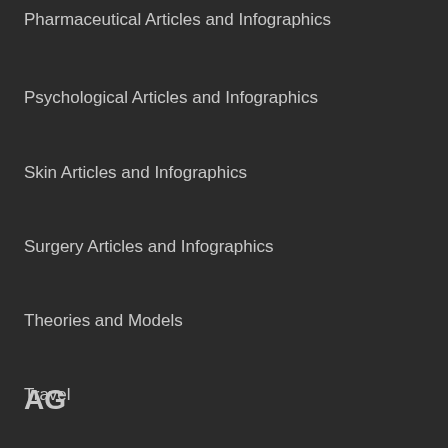Pharmaceutical Articles and Infographics
Psychological Articles and Infographics
Skin Articles and Infographics
Surgery Articles and Infographics
Theories and Models
Travel
Uncategorized
Videos on How to Get Research Funding
AG